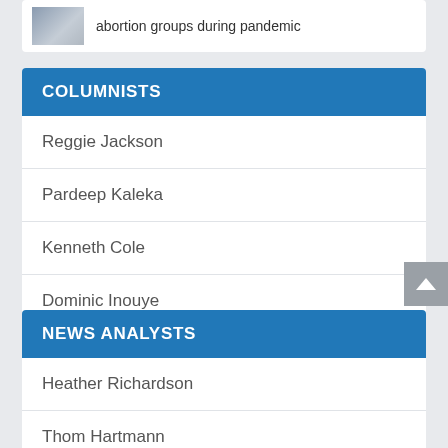abortion groups during pandemic
COLUMNISTS
Reggie Jackson
Pardeep Kaleka
Kenneth Cole
Dominic Inouye
NEWS ANALYSTS
Heather Richardson
Thom Hartmann